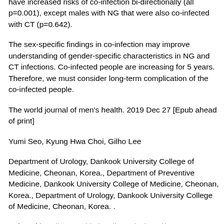8.88% with CT infection had NG infection and in female 1.82% of CT had NG (p=0.001). Young people in both sexes have increased risks of co-infection bi-directionally (all p=0.001), except males with NG that were also co-infected with CT (p=0.642).
The sex-specific findings in co-infection may improve understanding of gender-specific characteristics in NG and CT infections. Co-infected people are increasing for 5 years. Therefore, we must consider long-term complication of the co-infected people.
The world journal of men's health. 2019 Dec 27 [Epub ahead of print]
Yumi Seo, Kyung Hwa Choi, Gilho Lee
Department of Urology, Dankook University College of Medicine, Cheonan, Korea., Department of Preventive Medicine, Dankook University College of Medicine, Cheonan, Korea., Department of Urology, Dankook University College of Medicine, Cheonan, Korea. .
PubMed http://www.ncbi.nlm.nih.gov/pubmed/32009316